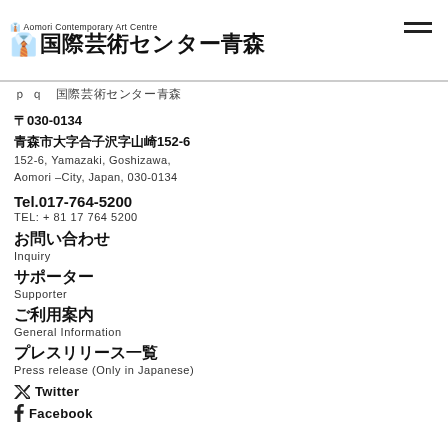Aomori Contemporary Art Centre 国際芸術センター青森
〒030-0134
青森市大字合子沢字山崎152-6
152-6, Yamazaki, Goshizawa,
Aomori –City, Japan, 030-0134
Tel.017-764-5200
TEL: + 81 17 764 5200
お問い合わせ
Inquiry
サポーター
Supporter
ご利用案内
General Information
プレスリリース一覧
Press release (Only in Japanese)
Twitter
Facebook